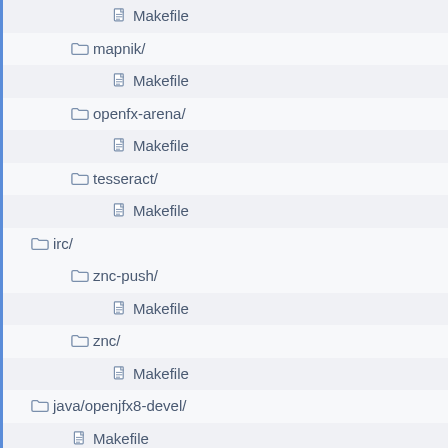Makefile (file, indent level 3)
mapnik/ (folder, indent level 2)
Makefile (file, indent level 3)
openfx-arena/ (folder, indent level 2)
Makefile (file, indent level 3)
tesseract/ (folder, indent level 2)
Makefile (file, indent level 3)
irc/ (folder, indent level 1)
znc-push/ (folder, indent level 2)
Makefile (file, indent level 3)
znc/ (folder, indent level 2)
Makefile (file, indent level 3)
java/openjfx8-devel/ (folder, indent level 1)
Makefile (file, indent level 2)
lang/ (folder, indent level 1)
gnustep-base/ (folder, indent level 2)
Makefile (file, indent level 3)
parrot/ (folder, indent level 2)
Makefile (file, indent level 3, partial)